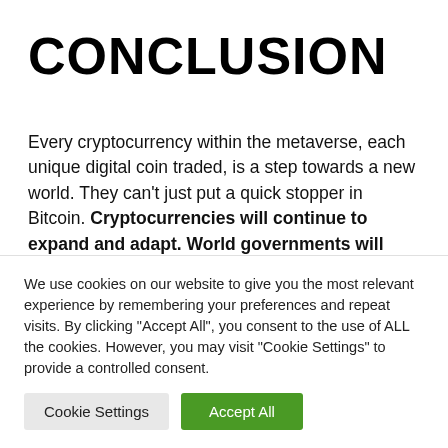CONCLUSION
Every cryptocurrency within the metaverse, each unique digital coin traded, is a step towards a new world. They can’t just put a quick stopper in Bitcoin. Cryptocurrencies will continue to expand and adapt. World governments will also be forced to reevaluate,
We use cookies on our website to give you the most relevant experience by remembering your preferences and repeat visits. By clicking “Accept All”, you consent to the use of ALL the cookies. However, you may visit “Cookie Settings” to provide a controlled consent.